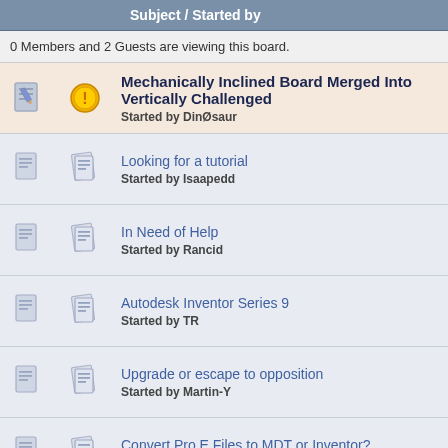Subject / Started by
0 Members and 2 Guests are viewing this board.
Mechanically Inclined Board Merged Into Vertically Challenged — Started by DinØsaur
Looking for a tutorial — Started by Isaapedd
In Need of Help — Started by Rancid
Autodesk Inventor Series 9 — Started by TR
Upgrade or escape to opposition — Started by Martin-Y
Convert Pro E Files to MDT or Inventor? — Started by Darryl
Inventor Sheet Metal Templates — Started by aepeszel
Standard Fasteners for Inventor? — Started by Darryl